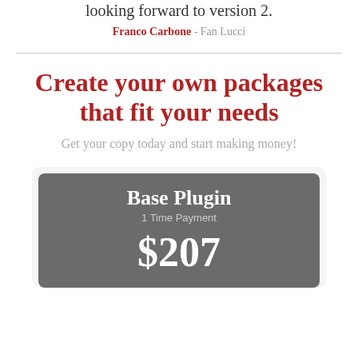looking forward to version 2.
Franco Carbone - Fan Lucci
Create your own packages that fit your needs
Get your copy today and start making money!
Base Plugin
1 Time Payment
$207